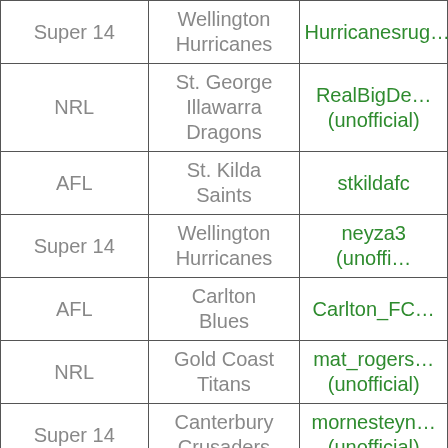| League | Team | Twitter Handle |
| --- | --- | --- |
| Super 14 | Wellington Hurricanes | Hurricanesrug… |
| NRL | St. George Illawarra Dragons | RealBigDe… (unofficial) |
| AFL | St. Kilda Saints | stkildafc |
| Super 14 | Wellington Hurricanes | neyza3 (unoffi… |
| AFL | Carlton Blues | Carlton_FC… |
| NRL | Gold Coast Titans | mat_rogers… (unofficial) |
| Super 14 | Canterbury Crusaders | mornesteyn… (unofficial) |
| AFL | Geelong Cats | Geelong_FC… (unofficial) |
|  | Queensland… | QuadeCoop… |